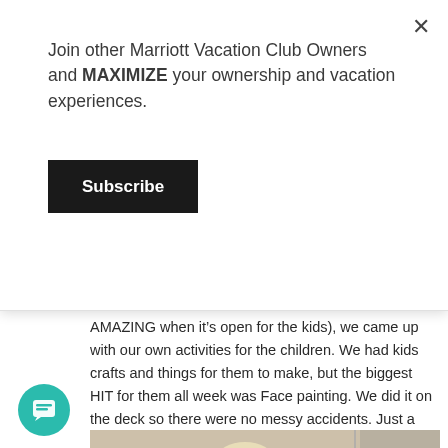Join other Marriott Vacation Club Owners and MAXIMIZE your ownership and vacation experiences.
Subscribe
AMAZING when it’s open for the kids), we came up with our own activities for the children. We had kids crafts and things for them to make, but the biggest HIT for them all week was Face painting. We did it on the deck so there were no messy accidents. Just a thought — Easy smeazy and a winner!
[Figure (photo): A child with a colorful butterfly face painting, standing near a wall, photo partially visible at bottom of page.]